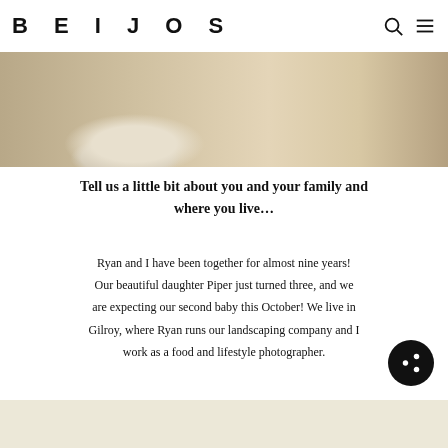BEIJOS
[Figure (photo): Top portion of a room photo showing woven/knit cushion ottomans on a patterned rug with a wooden furniture piece in the background]
Tell us a little bit about you and your family and where you live…
Ryan and I have been together for almost nine years! Our beautiful daughter Piper just turned three, and we are expecting our second baby this October! We live in Gilroy, where Ryan runs our landscaping company and I work as a food and lifestyle photographer.
[Figure (photo): Bottom portion of a photo with a light cream/beige background, partially visible]